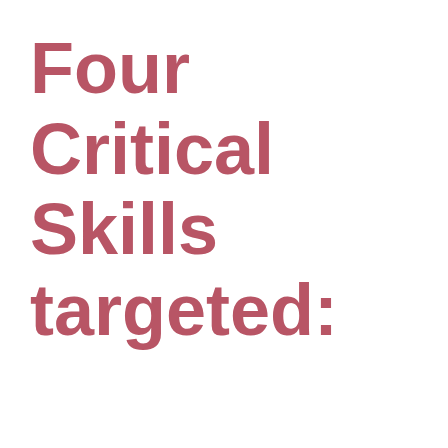Four Critical Skills targeted: